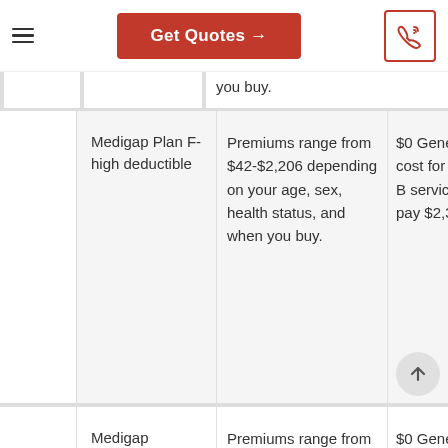Get Quotes →
you buy.
| Plan | Premiums | Your Cost | Additional Info |
| --- | --- | --- | --- |
| Medigap Plan F-high deductible | Premiums range from $42-$2,206 depending on your age, sex, health status, and when you buy. | $0 Generally your cost for approved Part B services after you pay $2,370 deductible | $ t d A p F (l d $ ( (l d |
| Medigap | Premiums range from $111-$3,065 depending on | $0 Generally your cost for | $ (l d |